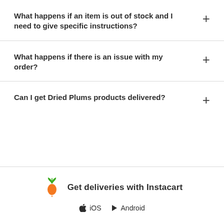What happens if an item is out of stock and I need to give specific instructions?
What happens if there is an issue with my order?
Can I get Dried Plums products delivered?
[Figure (logo): Instacart carrot logo with green leaves and orange carrot body]
Get deliveries with Instacart
iOS  Android